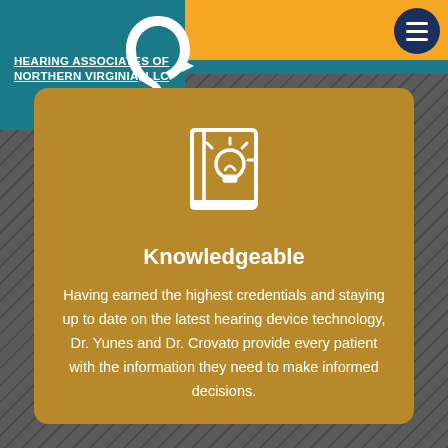[Figure (logo): Hearing Associates of Northern Virginia LLC logo with ear icon on teal background]
Knowledgeable
Having earned the highest credentials and staying up to date on the latest hearing device technology, Dr. Yunes and Dr. Crovato provide every patient with the information they need to make informed decisions.